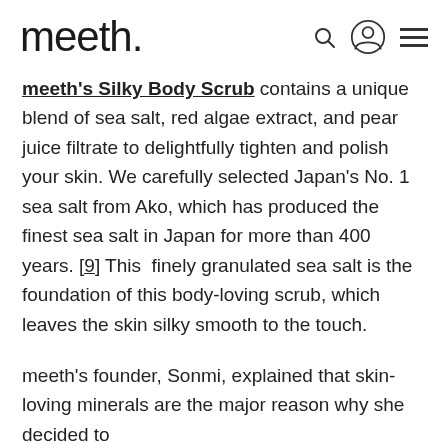meeth.
meeth's Silky Body Scrub contains a unique blend of sea salt, red algae extract, and pear juice filtrate to delightfully tighten and polish your skin. We carefully selected Japan's No. 1 sea salt from Ako, which has produced the finest sea salt in Japan for more than 400 years. [9] This  finely granulated sea salt is the foundation of this body-loving scrub, which leaves the skin silky smooth to the touch.
meeth's founder, Sonmi, explained that skin-loving minerals are the major reason why she decided to